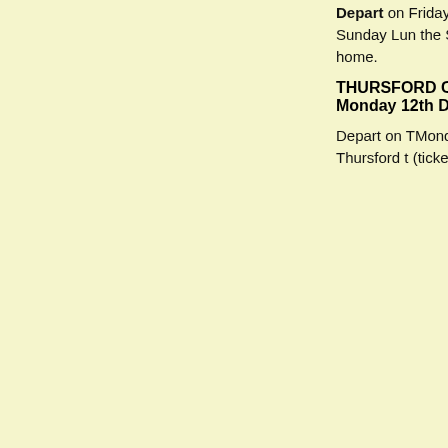Depart on Friday morning continue our journey to Sc... breakfast plus Sunday Lu... the Spa Complex and has Beverley. Sunday is a free journey home.
THURSFORD CHRISTMA... Monday 12th December
Depart on TMonday morni... dinner bed & breakfast. Th... dinner, travel to Thursford t... (ticket included). Tuesday n refreshment stop at the Sp...